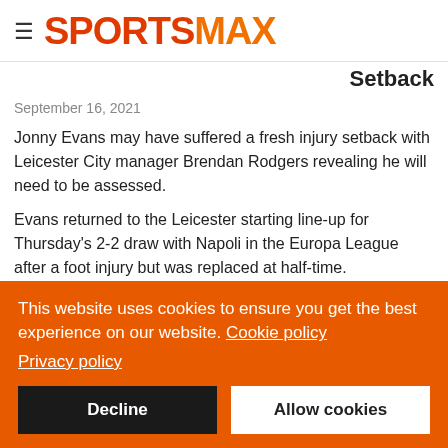SPORTSMAX
Setback
September 16, 2021
Jonny Evans may have suffered a fresh injury setback with Leicester City manager Brendan Rodgers revealing he will need to be assessed.
Evans returned to the Leicester starting line-up for Thursday's 2-2 draw with Napoli in the Europa League after a foot injury but was replaced at half-time.
This website uses cookies to ensure you get the best experience on our website. Cookie policy Privacy policy
Decline | Allow cookies